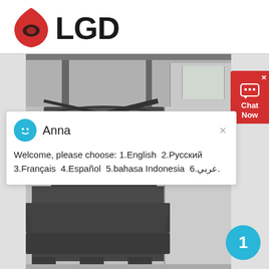[Figure (logo): LGD company logo with red flame/shield icon on left and bold black LGD text on right]
[Figure (photo): Industrial machine (vertical shaft impact crusher or similar) photographed in a factory/workshop setting. Upper portion shows ceiling and structural beams. Lower portion shows the dark gray machine body with red internal components visible through open side panel, sitting on a metal base frame.]
Welcome, please choose: 1.English  2.Русский  3.Français  4.Español  5.bahasa Indonesia  6.عربي.
Anna
Chat Now
1